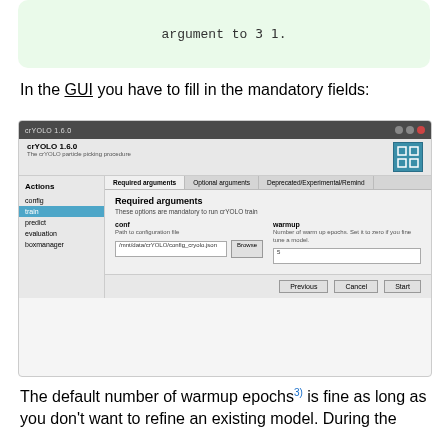argument to `3 1`.
In the GUI you have to fill in the mandatory fields:
[Figure (screenshot): Screenshot of crYOLO 1.6.0 GUI application showing Required arguments tab with conf and warmup fields. The left panel has Actions menu with config, train (selected/highlighted), predict, evaluation, boxmanager items. The main panel shows Required arguments tab selected, with conf (Path to configuration file) and warmup (Number of warm up epochs) fields filled in. Bottom has Previous, Cancel, Start buttons.]
The default number of warmup epochs3) is fine as long as you don't want to refine an existing model. During the